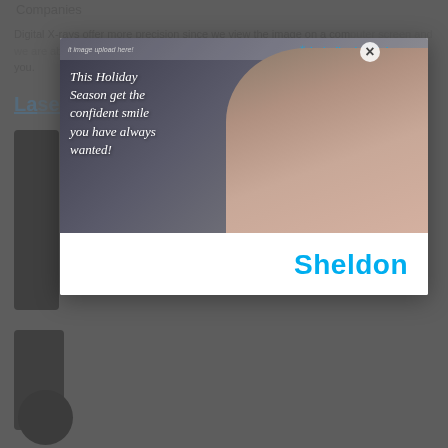Companies
Digital X-rays offer more precision since we view the image on a computer screen and we are able to manipulate the image to the light levels that are most comfortable for you.
La...
[Figure (screenshot): Advertisement popup modal for Invisalign with holiday seasonal message. Shows a couple smiling. Text reads: 'This Holiday Season get the confident smile you have always wanted!' with Invisalign logo. Bottom of modal shows 'Sheldon' branding in blue.]